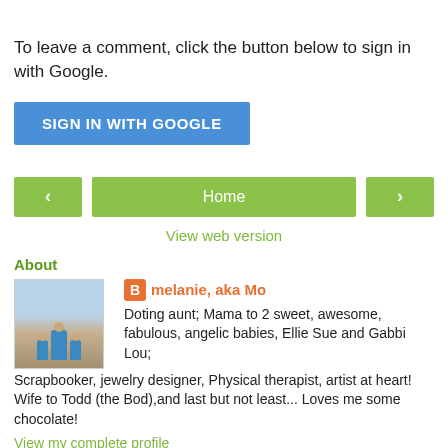To leave a comment, click the button below to sign in with Google.
SIGN IN WITH GOOGLE
[Figure (other): Navigation bar with left arrow button, Home button, and right arrow button, all in green]
View web version
About
[Figure (photo): Profile photo showing family figures on a beach]
melanie, aka Mo
Doting aunt; Mama to 2 sweet, awesome, fabulous, angelic babies, Ellie Sue and Gabbi Lou; Scrapbooker, jewelry designer, Physical therapist, artist at heart! Wife to Todd (the Bod),and last but not least... Loves me some chocolate!
View my complete profile
Powered by Blogger.